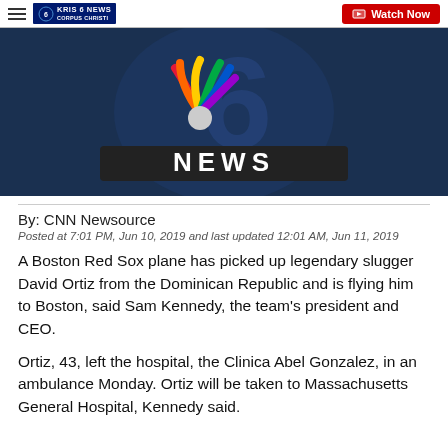KRIS 6 NEWS CORPUS CHRISTI | Watch Now
[Figure (photo): NBC News logo on a dark blue background with NBC peacock logo and the word NEWS in large metallic letters]
By: CNN Newsource
Posted at 7:01 PM, Jun 10, 2019 and last updated 12:01 AM, Jun 11, 2019
A Boston Red Sox plane has picked up legendary slugger David Ortiz from the Dominican Republic and is flying him to Boston, said Sam Kennedy, the team's president and CEO.
Ortiz, 43, left the hospital, the Clinica Abel Gonzalez, in an ambulance Monday. Ortiz will be taken to Massachusetts General Hospital, Kennedy said.